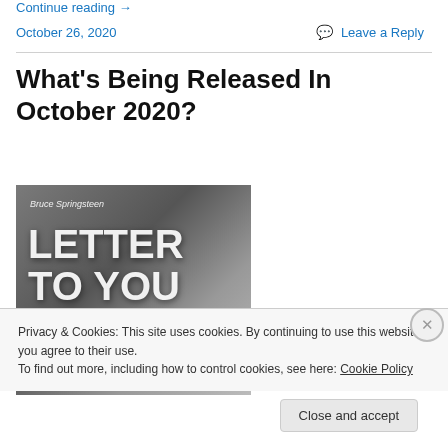Continue reading →
October 26, 2020
Leave a Reply
What's Being Released In October 2020?
[Figure (photo): Album cover for Bruce Springsteen 'Letter To You' showing artist name in cursive at top, large white block text reading 'LETTER TO YOU' on left, and a close-up of a man's face on the right against a snowy grey background.]
Privacy & Cookies: This site uses cookies. By continuing to use this website, you agree to their use.
To find out more, including how to control cookies, see here: Cookie Policy
Close and accept